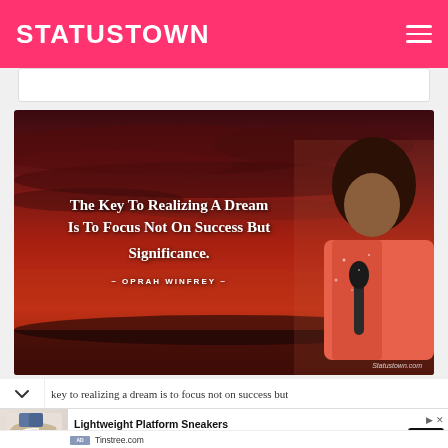STATUSTOWN
[Figure (photo): Motivational quote image with dark red sunset sky background and a person holding a microphone on the right. Text reads: 'The Key To Realizing A Dream Is To Focus Not On Success But Significance.' — OPRAH WINFREY — Statustown.com]
key to realizing a dream is to focus not on success but
[Figure (photo): Advertisement showing lightweight platform sneakers on a white/grey background]
Lightweight Platform Sneakers
Variety of Quality Platform Sneakers in Stock, Pick Up Your Favorite Style Today.
Tinstree.com